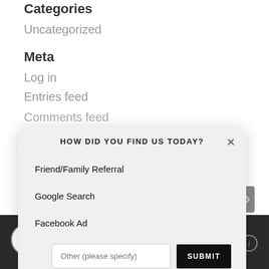Categories
Uncategorized
Meta
Log in
Entries feed
Comments feed (partially visible)
HOW DID YOU FIND US TODAY?
Friend/Family Referral
Google Search
Facebook Ad
Other (please specify)
SUBMIT